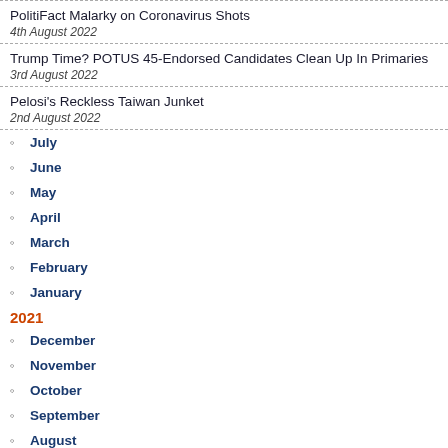PolitiFact Malarky on Coronavirus Shots
4th August 2022
Trump Time? POTUS 45-Endorsed Candidates Clean Up In Primaries
3rd August 2022
Pelosi's Reckless Taiwan Junket
2nd August 2022
July
June
May
April
March
February
January
2021
December
November
October
September
August
July
June